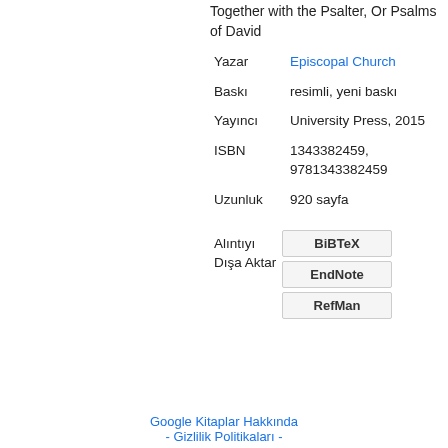Together with the Psalter, Or Psalms of David
| Field | Value |
| --- | --- |
| Yazar | Episcopal Church |
| Baskı | resimli, yeni baskı |
| Yayıncı | University Press, 2015 |
| ISBN | 1343382459, 9781343382459 |
| Uzunluk | 920 sayfa |
Alıntıyı Dışa Aktar
BiBTeX
EndNote
RefMan
Google Kitaplar Hakkında - Gizlilik Politikaları -